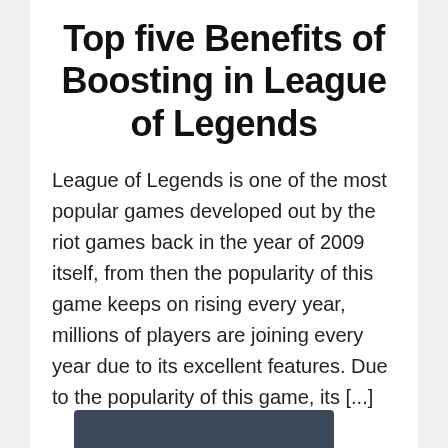Top five Benefits of Boosting in League of Legends
League of Legends is one of the most popular games developed out by the riot games back in the year of 2009 itself, from then the popularity of this game keeps on rising every year, millions of players are joining every year due to its excellent features. Due to the popularity of this game, its [...]